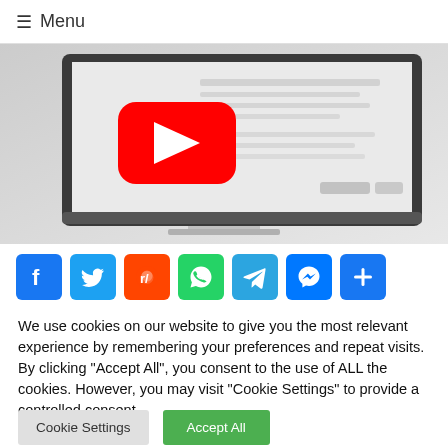≡ Menu
[Figure (screenshot): Monitor displaying a YouTube video play button on screen, shown at an angle against a grey background.]
[Figure (infographic): Social share buttons row: Facebook (blue), Twitter (blue), Reddit (orange), WhatsApp (green), Telegram (light blue), Messenger (blue), Share/Add (blue)]
We use cookies on our website to give you the most relevant experience by remembering your preferences and repeat visits. By clicking "Accept All", you consent to the use of ALL the cookies. However, you may visit "Cookie Settings" to provide a controlled consent.
Cookie Settings | Accept All